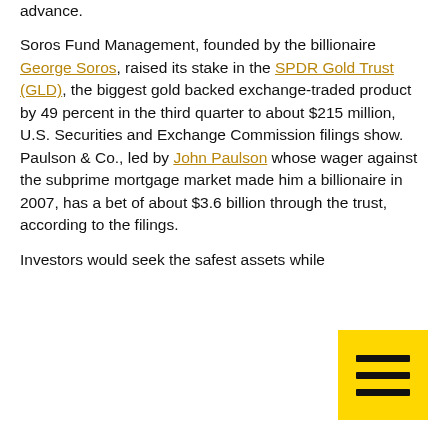advance. Soros Fund Management, founded by the billionaire George Soros, raised its stake in the SPDR Gold Trust (GLD), the biggest gold backed exchange-traded product by 49 percent in the third quarter to about $215 million, U.S. Securities and Exchange Commission filings show. Paulson & Co., led by John Paulson whose wager against the subprime mortgage market made him a billionaire in 2007, has a bet of about $3.6 billion through the trust, according to the filings. Investors would seek the safest assets while